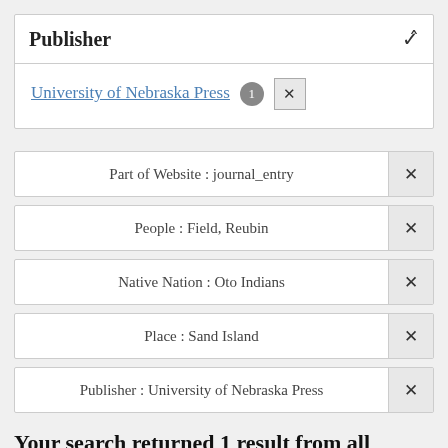Publisher
University of Nebraska Press 1 ✕
Part of Website : journal_entry ✕
People : Field, Reubin ✕
Native Nation : Oto Indians ✕
Place : Sand Island ✕
Publisher : University of Nebraska Press ✕
Your search returned 1 result from all items